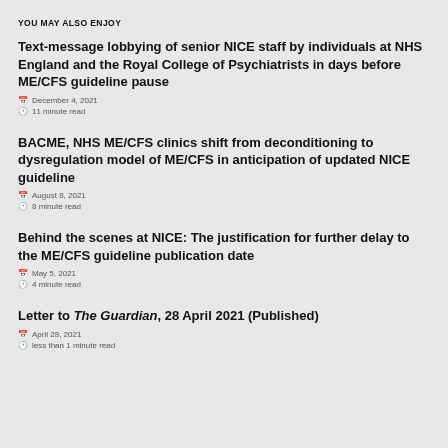YOU MAY ALSO ENJOY
Text-message lobbying of senior NICE staff by individuals at NHS England and the Royal College of Psychiatrists in days before ME/CFS guideline pause
December 4, 2021
11 minute read
BACME, NHS ME/CFS clinics shift from deconditioning to dysregulation model of ME/CFS in anticipation of updated NICE guideline
August 8, 2021
8 minute read
Behind the scenes at NICE: The justification for further delay to the ME/CFS guideline publication date
May 5, 2021
4 minute read
Letter to The Guardian, 28 April 2021 (Published)
April 28, 2021
less than 1 minute read